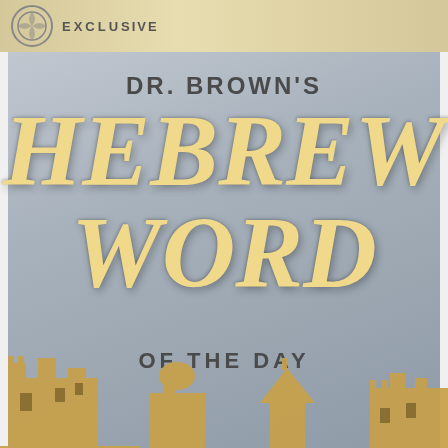EXCLUSIVE
DR. BROWN'S HEBREW WORD OF THE DAY
[Figure (illustration): Golden/tan silhouette skyline of ancient Middle Eastern city buildings and towers at the bottom of the page, rendered as a decorative border illustration.]